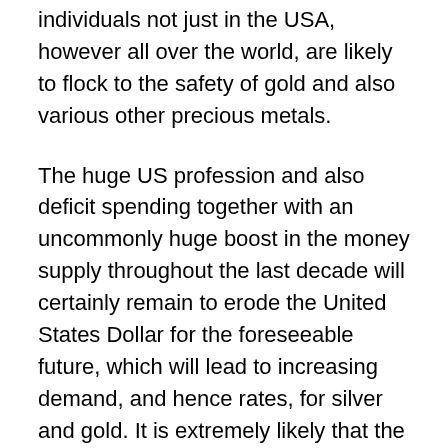individuals not just in the USA, however all over the world, are likely to flock to the safety of gold and also various other precious metals.
The huge US profession and also deficit spending together with an uncommonly huge boost in the money supply throughout the last decade will certainly remain to erode the United States Dollar for the foreseeable future, which will lead to increasing demand, and hence rates, for silver and gold. It is extremely likely that the price of gold will certainly never once again be as low as it is today. Unlike paper currency and various other products, gold has a background of holding its worth, as well as even increasing, throughout economic crises.